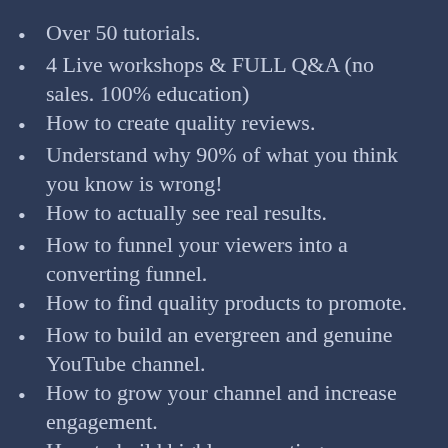Over 50 tutorials.
4 Live workshops & FULL Q&A (no sales. 100% education)
How to create quality reviews.
Understand why 90% of what you think you know is wrong!
How to actually see real results.
How to funnel your viewers into a converting funnel.
How to find quality products to promote.
How to build an evergreen and genuine YouTube channel.
How to grow your channel and increase engagement.
How to build highly converting squeeze